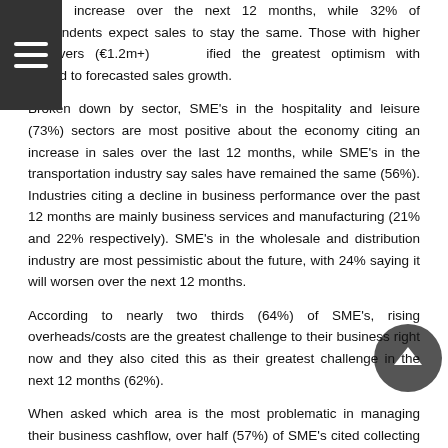increase over the next 12 months, while 32% of respondents expect sales to stay the same. Those with higher turnovers (€1.2m+) identified the greatest optimism with regard to forecasted sales growth.
Broken down by sector, SME's in the hospitality and leisure (73%) sectors are most positive about the economy citing an increase in sales over the last 12 months, while SME's in the transportation industry say sales have remained the same (56%). Industries citing a decline in business performance over the past 12 months are mainly business services and manufacturing (21% and 22% respectively). SME's in the wholesale and distribution industry are most pessimistic about the future, with 24% saying it will worsen over the next 12 months.
According to nearly two thirds (64%) of SME's, rising overheads/costs are the greatest challenge to their business right now and they also cited this as their greatest challenge in the next 12 months (62%).
When asked which area is the most problematic in managing their business cashflow, over half (57%) of SME's cited collecting payment from customers on time. Nearly half (49%) of respondents believe that an increase in interest rates will hinder their business growth, compared to 37% who don't expect their business to be affected.
Almost a third of SMEs (32%) suffered from bad debt over the past 12